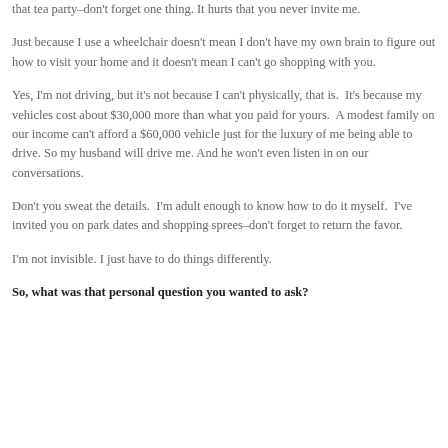that tea party–don't forget one thing. It hurts that you never invite me.
Just because I use a wheelchair doesn't mean I don't have my own brain to figure out how to visit your home and it doesn't mean I can't go shopping with you.
Yes, I'm not driving, but it's not because I can't physically, that is.  It's because my vehicles cost about $30,000 more than what you paid for yours.  A modest family on our income can't afford a $60,000 vehicle just for the luxury of me being able to drive. So my husband will drive me. And he won't even listen in on our conversations.
Don't you sweat the details.  I'm adult enough to know how to do it myself.  I've invited you on park dates and shopping sprees–don't forget to return the favor.
I'm not invisible. I just have to do things differently.
So, what was that personal question you wanted to ask?